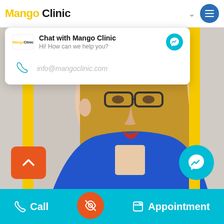[Figure (screenshot): Mango Clinic website screenshot showing a doctor photo with yellow vertical bars, a chat popup with messenger icon, orange scroll button, teal messenger FAB, and a teal bottom navigation bar with Call and Appointment buttons]
Mango Clinic
Chat with Mango Clinic
Hi! How can we help you?
info@mangoclinic.com
Call
Appointment